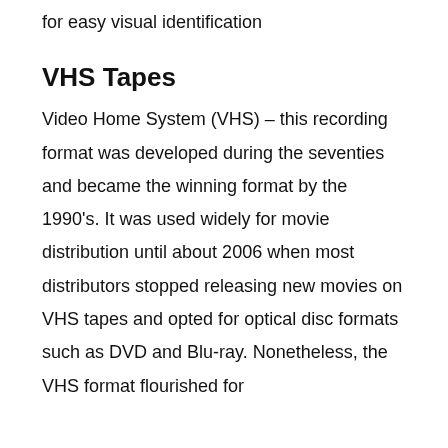for easy visual identification
VHS Tapes
Video Home System (VHS) – this recording format was developed during the seventies and became the winning format by the 1990's. It was used widely for movie distribution until about 2006 when most distributors stopped releasing new movies on VHS tapes and opted for optical disc formats such as DVD and Blu-ray. Nonetheless, the VHS format flourished for